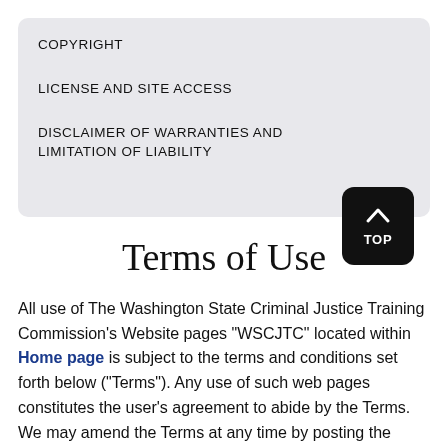COPYRIGHT
LICENSE AND SITE ACCESS
DISCLAIMER OF WARRANTIES AND LIMITATION OF LIABILITY
Terms of Use
All use of The Washington State Criminal Justice Training Commission's Website pages "WSCJTC" located within Home page is subject to the terms and conditions set forth below ("Terms"). Any use of such web pages constitutes the user's agreement to abide by the Terms. We may amend the Terms at any time by posting the